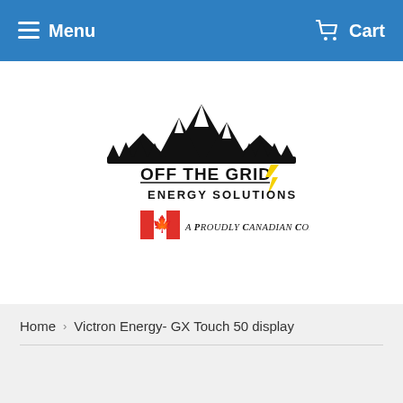Menu   Cart
[Figure (logo): Off The Grid Energy Solutions logo with mountain silhouette, trees, Canadian flag, lightning bolt, and tagline 'A Proudly Canadian Company']
Home › Victron Energy- GX Touch 50 display